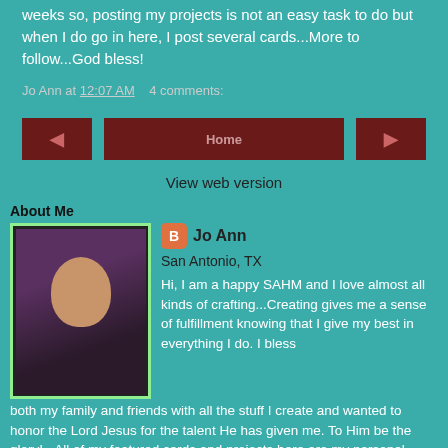weeks so, posting my projects is not an easy task to do but when I do go in here, I post several cards...More to follow...God bless!
Jo Ann at 12:07 AM    4 comments:
[Figure (other): Navigation buttons row with left arrow, center 'Home' button, and right arrow button]
View web version
About Me
[Figure (photo): Profile photo of Jo Ann, a woman with dark hair wearing a purple top]
Jo Ann
San Antonio, TX
Hi, I am a happy SAHM and I love almost all kinds of crafting...Creating gives me a sense of fulfillment knowing that I give my best in everything I do. I bless both my family and friends with all the stuff I create and wanted to honor the Lord Jesus for the talent He has given me. To Him be the glory!...All of my featured cards and projects here are my personal creation and may be used for "INSPIRATION ONLY" and not to be